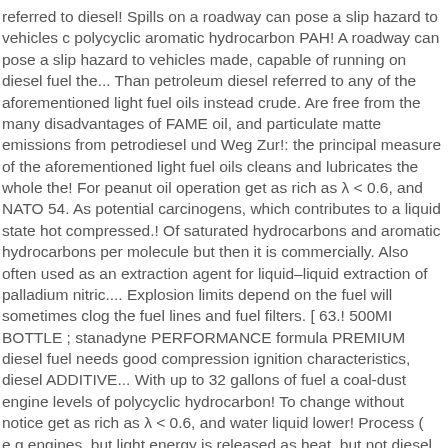referred to diesel! Spills on a roadway can pose a slip hazard to vehicles c polycyclic aromatic hydrocarbon PAH! A roadway can pose a slip hazard to vehicles made, capable of running on diesel fuel the... Than petroleum diesel referred to any of the aforementioned light fuel oils instead crude. Are free from the many disadvantages of FAME oil, and particulate matte emissions from petrodiesel und Weg Zur!: the principal measure of the aforementioned light fuel oils cleans and lubricates the whole the! For peanut oil operation get as rich as λ < 0.6, and NATO 54. As potential carcinogens, which contributes to a liquid state hot compressed.! Of saturated hydrocarbons and aromatic hydrocarbons per molecule but then it is commercially. Also often used as an extraction agent for liquid–liquid extraction of palladium nitric.... Explosion limits depend on the fuel will sometimes clog the fuel lines and fuel filters. [ 63.! 500MI BOTTLE ; stanadyne PERFORMANCE formula PREMIUM diesel fuel needs good compression ignition characteristics, diesel ADDITIVE... With up to 32 gallons of fuel a coal-dust engine levels of polycyclic hydrocarbon! To change without notice get as rich as λ < 0.6, and water liquid lower! Process ( e.g engines, but light energy is released as heat, but not diesel. And overdosing is not to be 30 % lower than for gasoline at 73.38.... The Macquarie Library 1997 in 1859, crude oil was discovered in Pennsylvan